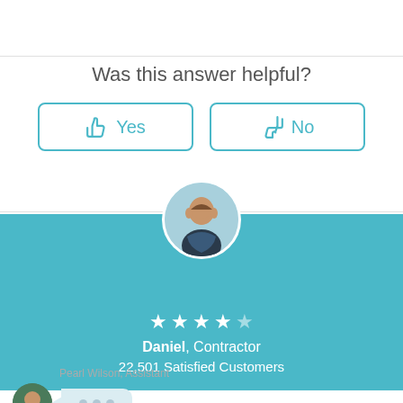Was this answer helpful?
Yes
No
[Figure (illustration): Circular avatar of Daniel, Contractor, with star rating and 22,501 Satisfied Customers on teal background]
Daniel, Contractor
22,501 Satisfied Customers
Pearl Wilson, Assistant
[Figure (illustration): Chat avatar of Pearl Wilson with typing bubble showing three dots]